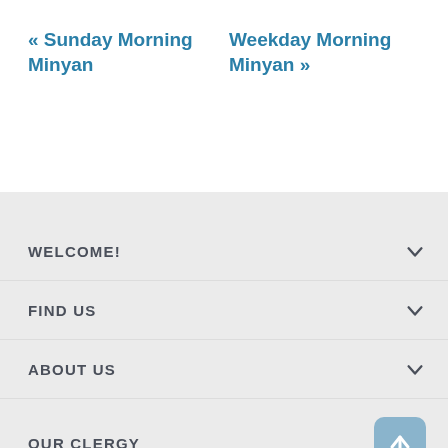« Sunday Morning Minyan
Weekday Morning Minyan »
WELCOME!
FIND US
ABOUT US
OUR CLERGY
SERVICES